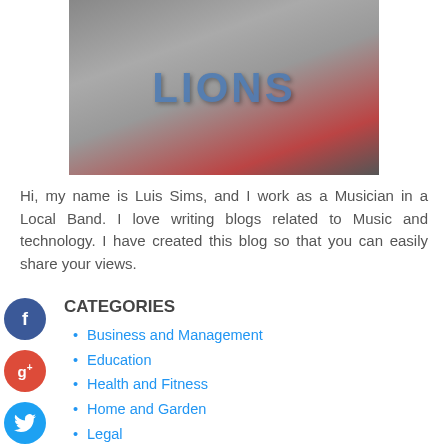[Figure (photo): Person wearing a Lions jersey/sweatshirt, cropped to show torso with 'LIONS' text visible]
Hi, my name is Luis Sims, and I work as a Musician in a Local Band. I love writing blogs related to Music and technology. I have created this blog so that you can easily share your views.
CATEGORIES
Business and Management
Education
Health and Fitness
Home and Garden
Legal
Main
Marketing and Advertising
Music
Pets